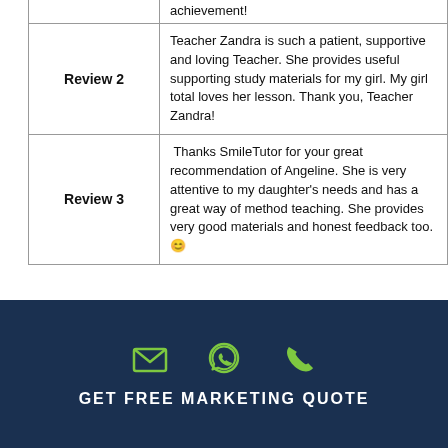|  | Review |
| --- | --- |
| Review 2 | Teacher Zandra is such a patient, supportive and loving Teacher. She provides useful supporting study materials for my girl. My girl total loves her lesson. Thank you, Teacher Zandra! |
| Review 3 | Thanks SmileTutor for your great recommendation of Angeline. She is very attentive to my daughter's needs and has a great way of method teaching. She provides very good materials and honest feedback too. 😊 |
[Figure (infographic): Footer with dark navy background showing three icons (email envelope, WhatsApp, phone) in green, and text 'GET FREE MARKETING QUOTE']
GET FREE MARKETING QUOTE